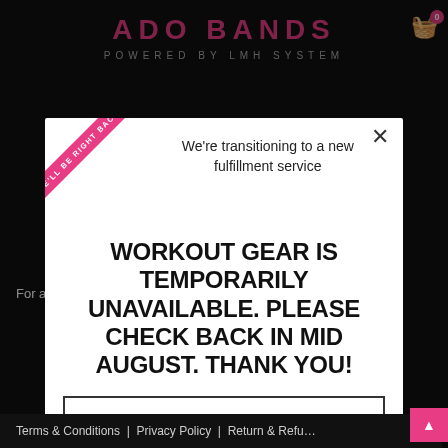ADO BANDS
POWERED BY LMH SYSTEM
We're transitioning to a new fulfillment service
WORKOUT GEAR IS TEMPORARILY UNAVAILABLE. PLEASE CHECK BACK IN MID AUGUST. THANK YOU!
Shop Digital Downloads →
For all ... ds.com
Terms & Conditions | Privacy Policy | Return & Refu...